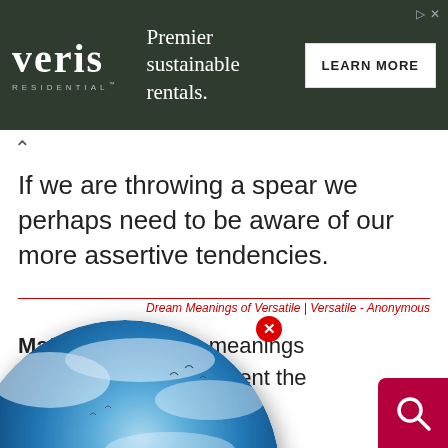[Figure (other): Veris Residential advertisement banner: dark green background with Veris Residential logo on left, text 'Premier sustainable rentals.' in center, white 'LEARN MORE' button on right]
If we are throwing a spear we perhaps need to be aware of our more assertive tendencies.
Dream Meanings of Versatile | Versatile - Anonymous
Material ... has many meanings from ... It can represent the ... or the wit of social ... tive sense it can ... mindedness.
s of Versatile | Versatile - Anonymous
[Figure (illustration): Dream Encyclopedia globe logo — a blue Earth globe with clouds, birds, and the Dream Encyclopedia logo overlay]
spear represents the ... is a phallic symbol. ... in a man's or a woman's dream